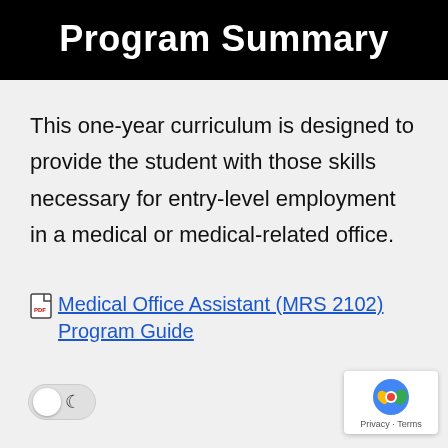Program Summary
This one-year curriculum is designed to provide the student with those skills necessary for entry-level employment in a medical or medical-related office.
Medical Office Assistant (MRS 2102) Program Guide